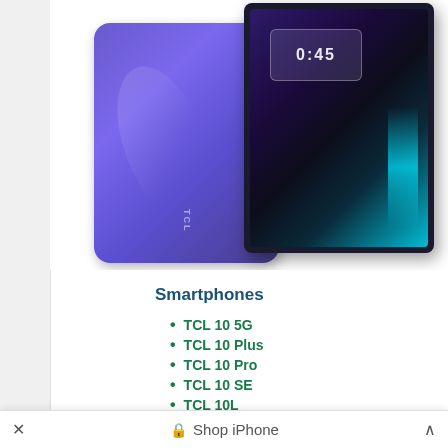[Figure (photo): Product photo showing two TCL tablets/devices — one showing the purple back panel, another showing the front screen with a colorful abstract wallpaper and a lock screen overlay]
Smartphones
TCL 10 5G
TCL 10 Plus
TCL 10 Pro
TCL 10 SE
TCL 10L
Shop iPhone